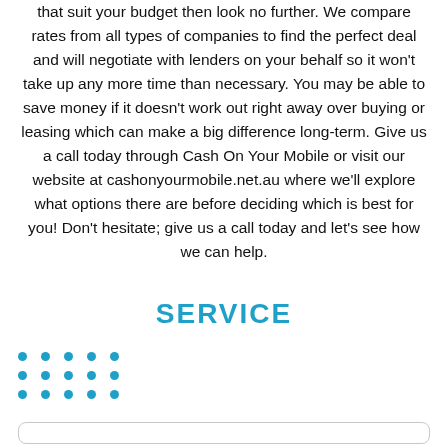that suit your budget then look no further. We compare rates from all types of companies to find the perfect deal and will negotiate with lenders on your behalf so it won't take up any more time than necessary. You may be able to save money if it doesn't work out right away over buying or leasing which can make a big difference long-term. Give us a call today through Cash On Your Mobile or visit our website at cashonyourmobile.net.au where we'll explore what options there are before deciding which is best for you! Don't hesitate; give us a call today and let's see how we can help.
SERVICE